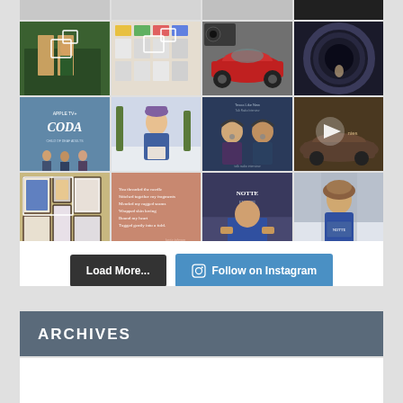[Figure (photo): Instagram photo grid with 3 rows of 4 photos each. Row 1: woman on balcony, colorful cards/photos layout, red sports car, circular abstract. Row 2: CODA movie poster, woman in snow with book, two people talking with headphones, vintage car video thumbnail with play button. Row 3: framed art on wall, poetry text on warm background, person holding blue book, woman in winter coat holding book in snow.]
[Figure (infographic): Two buttons: 'Load More...' dark button and 'Follow on Instagram' blue button with Instagram icon]
ARCHIVES